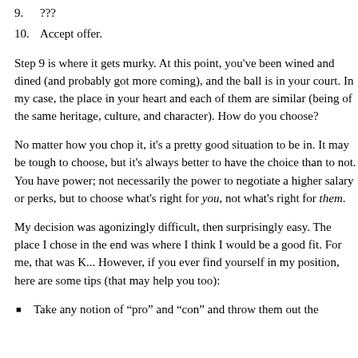9. ???
10. Accept offer.
Step 9 is where it gets murky. At this point, you've been wined and dined (and probably got more coming), and the ball is in your court. In my case, the place in your heart and each of them are similar (being of the same heritage, culture, and character). How do you choose?
No matter how you chop it, it's a pretty good situation to be in. It may be tough to choose, but it's always better to have the choice than to not. You have power; not necessarily the power to negotiate a higher salary or perks, but to choose what's right for you, not what's right for them.
My decision was agonizingly difficult, then surprisingly easy. The place I chose in the end was where I think I would be a good fit. For me, that was K... However, if you ever find yourself in my position, here are some tips (that may help you too):
Take any notion of "pro" and "con" and throw them out the